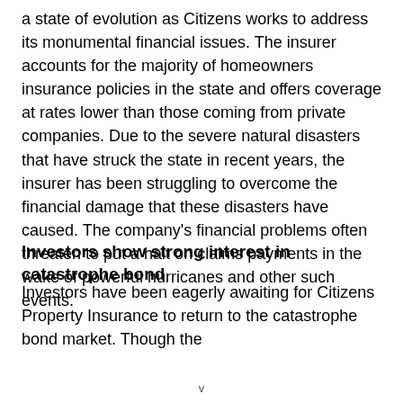a state of evolution as Citizens works to address its monumental financial issues. The insurer accounts for the majority of homeowners insurance policies in the state and offers coverage at rates lower than those coming from private companies. Due to the severe natural disasters that have struck the state in recent years, the insurer has been struggling to overcome the financial damage that these disasters have caused. The company's financial problems often threaten to put a halt on claims payments in the wake of powerful hurricanes and other such events.
Investors show strong interest in catastrophe bond
Investors have been eagerly awaiting for Citizens Property Insurance to return to the catastrophe bond market. Though the
v